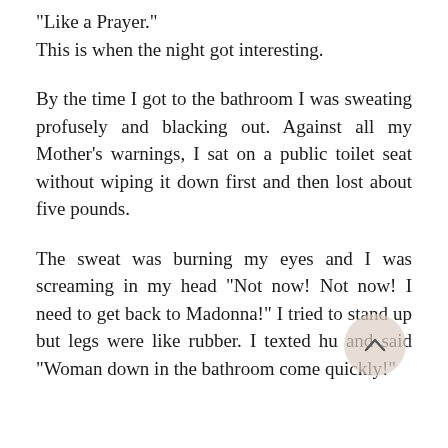“Like a Prayer.”
This is when the night got interesting.
By the time I got to the bathroom I was sweating profusely and blacking out. Against all my Mother’s warnings, I sat on a public toilet seat without wiping it down first and then lost about five pounds.
The sweat was burning my eyes and I was screaming in my head “Not now! Not now! I need to get back to Madonna!” I tried to stand up but legs were like rubber. I texted hu… and said “Woman down in the bathroom come quickly!”